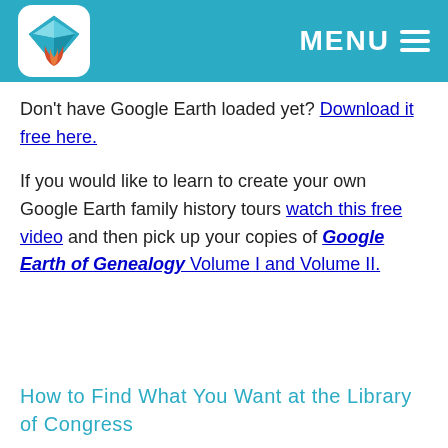MENU
Don't have Google Earth loaded yet? Download it free here.
If you would like to learn to create your own Google Earth family history tours watch this free video and then pick up your copies of Google Earth of Genealogy Volume I and Volume II.
How to Find What You Want at the Library of Congress